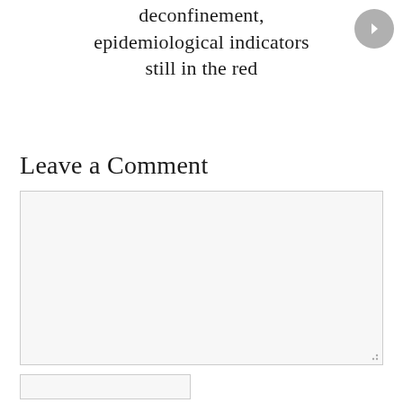deconfinement, epidemiological indicators still in the red
Leave a Comment